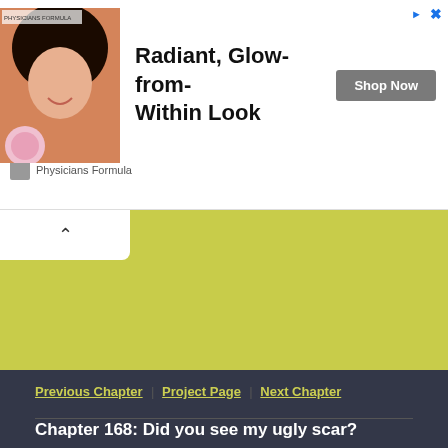[Figure (photo): Advertisement banner for Physicians Formula cosmetics featuring a woman and makeup products. Text reads 'Radiant, Glow-from-Within Look' with a 'Shop Now' button and 'Physicians Formula' brand name.]
Previous Chapter | Project Page | Next Chapter
Chapter 168: Did you see my ugly scar?